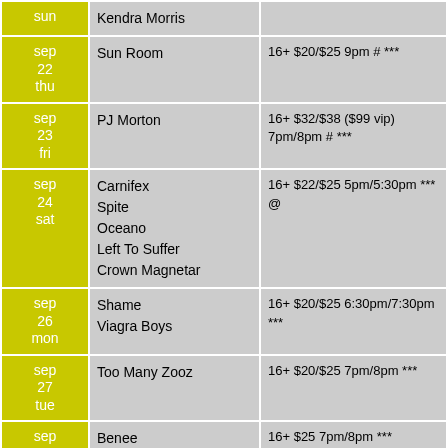| Date | Artist | Info |
| --- | --- | --- |
| sun | Kendra Morris |  |
| sep
22
thu | Sun Room | 16+ $20/$25 9pm # *** |
| sep
23
fri | PJ Morton | 16+ $32/$38 ($99 vip) 7pm/8pm # *** |
| sep
24
sat | Carnifex
Spite
Oceano
Left To Suffer
Crown Magnetar | 16+ $22/$25 5pm/5:30pm *** @ |
| sep
26
mon | Shame
Viagra Boys | 16+ $20/$25 6:30pm/7:30pm *** |
| sep
27
tue | Too Many Zooz | 16+ $20/$25 7pm/8pm *** |
| sep
29
thu | Benee | 16+ $25 7pm/8pm *** |
| oct 1
sat | Mild High Club | 16+ 8pm # *** |
| oct 2
sun | Matisyaho | 16+ $25/$28/$30 7pm/8pm # *** |
| oct 4 | The Front Bottoms | 16+ $20/$25 6:30pm/7:30pm # *** |